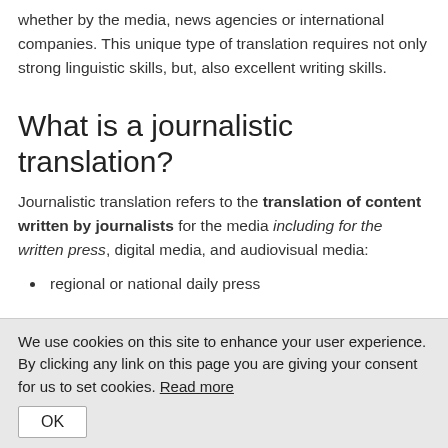whether by the media, news agencies or international companies. This unique type of translation requires not only strong linguistic skills, but, also excellent writing skills.
What is a journalistic translation?
Journalistic translation refers to the translation of content written by journalists for the media including for the written press, digital media, and audiovisual media:
regional or national daily press
We use cookies on this site to enhance your user experience. By clicking any link on this page you are giving your consent for us to set cookies. Read more
OK